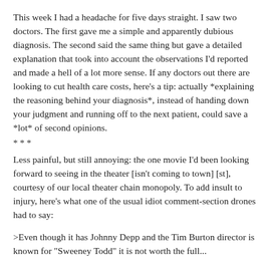This week I had a headache for five days straight. I saw two doctors. The first gave me a simple and apparently dubious diagnosis. The second said the same thing but gave a detailed explanation that took into account the observations I'd reported and made a hell of a lot more sense. If any doctors out there are looking to cut health care costs, here's a tip: actually *explaining the reasoning behind your diagnosis*, instead of handing down your judgment and running off to the next patient, could save a *lot* of second opinions.
* * *
Less painful, but still annoying: the one movie I'd been looking forward to seeing in the theater [isn't coming to town] [st], courtesy of our local theater chain monopoly. To add insult to injury, here's what one of the usual idiot comment-section drones had to say:
>Even though it has Johnny Depp and the Tim Burton director is known for "Sweeney Todd" it is not worth the full...